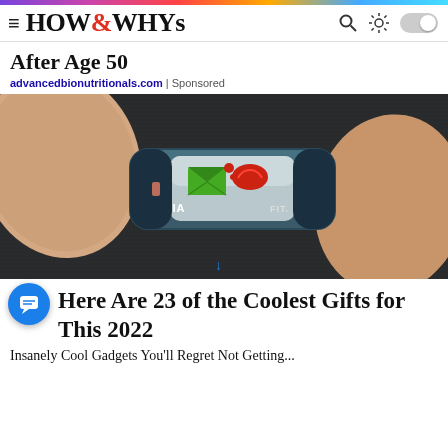HOW&WHYs
After Age 50
advancedbionutritionals.com | Sponsored
[Figure (photo): Close-up photo of a Nokia FIT ring device being held between two fingers. The sleek device has a teal/dark body with a Nokia logo and displays a green envelope icon and red phone icon on its face.]
Here Are 23 of the Coolest Gifts for This 2022
Insanely Cool Gadgets You'll Regret Not Getting...